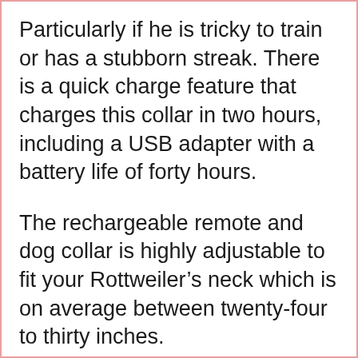Particularly if he is tricky to train or has a stubborn streak. There is a quick charge feature that charges this collar in two hours, including a USB adapter with a battery life of forty hours.
The rechargeable remote and dog collar is highly adjustable to fit your Rottweiler’s neck which is on average between twenty-four to thirty inches.
If you have two Rottweilers, you can buy a separate collar for training and